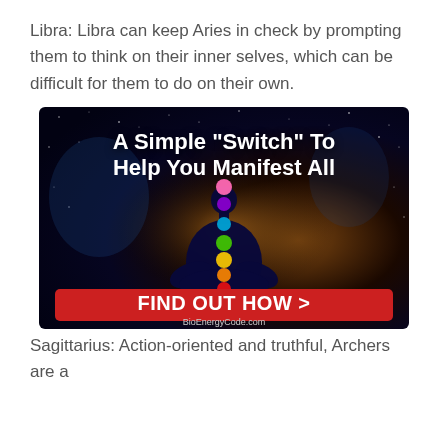Libra: Libra can keep Aries in check by prompting them to think on their inner selves, which can be difficult for them to do on their own.
[Figure (infographic): Advertisement banner with dark starry space background, a silhouetted meditating figure with colorful chakra circles, bold white text 'A Simple "Switch" To Help You Manifest All', a red button reading 'FIND OUT HOW >', and 'BioEnergyCode.com' credit at the bottom.]
Sagittarius: Action-oriented and truthful, Archers are a